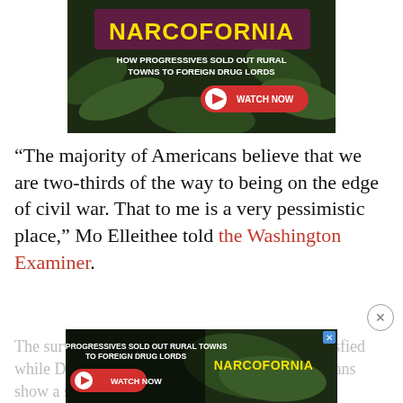[Figure (screenshot): Advertisement banner for 'Narcofornia' documentary with text 'HOW PROGRESSIVES SOLD OUT RURAL TOWNS TO FOREIGN DRUG LORDS' and a red WATCH NOW button, overlaid on cannabis leaf imagery]
“The majority of Americans believe that we are two-thirds of the way to being on the edge of civil war. That to me is a very pessimistic place,” Mo Elleithee told the Washington Examiner.
The survey showed that voters are not just dissatisfied while Democrats... Trump is hardening. Republicans show a similar dislike of